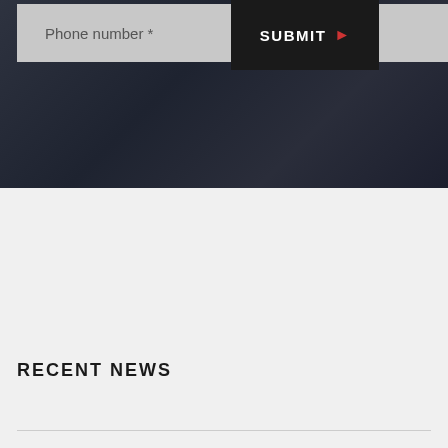Phone number *
SUBMIT
RECENT NEWS